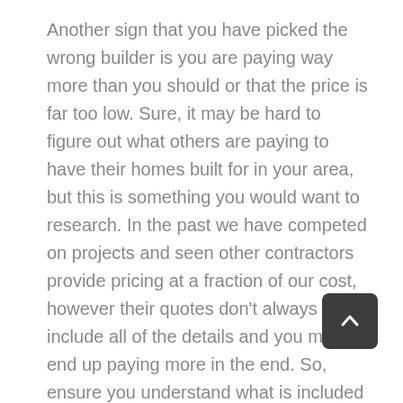Another sign that you have picked the wrong builder is you are paying way more than you should or that the price is far too low. Sure, it may be hard to figure out what others are paying to have their homes built for in your area, but this is something you would want to research. In the past we have competed on projects and seen other contractors provide pricing at a fraction of our cost, however their quotes don't always include all of the details and you may end up paying more in the end. So, ensure you understand what is included and what is not. If you feel like the builder may be overcharging or undercharging you, do some searching and find out what the average home building prices in your area are. Then, you may want to have a meeting with the builder and discuss the transaction.
As mentioned above, while it may be tempting to hire the lowest bidder, low costs do not always